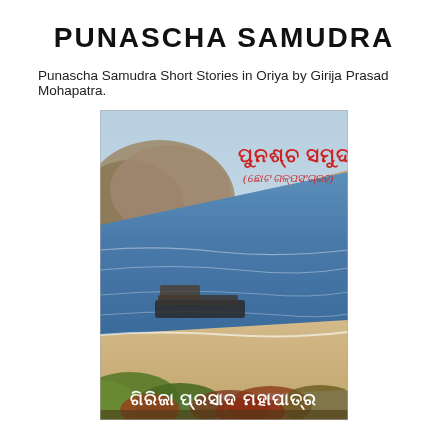PUNASCHA SAMUDRA
Punascha Samudra Short Stories in Oriya by Girija Prasad Mohapatra.
[Figure (photo): Book cover of Punascha Samudra showing a coastal landscape aerial view with the ocean, beach, and hills. Title in Odia script at top right and author name in Odia script at bottom.]